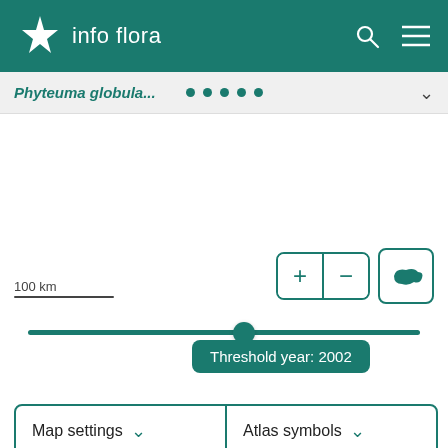info flora
Phyteuma globula...
[Figure (map): Map area showing distribution of Phyteuma globula in Switzerland with slider controls and threshold year 2002]
100 km
Threshold year: 2002
Map settings
Atlas symbols
Habitat and distribution inside Switzerland